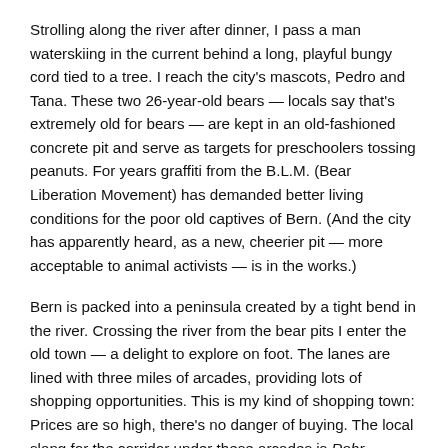Strolling along the river after dinner, I pass a man waterskiing in the current behind a long, playful bungy cord tied to a tree. I reach the city's mascots, Pedro and Tana. These two 26-year-old bears — locals say that's extremely old for bears — are kept in an old-fashioned concrete pit and serve as targets for preschoolers tossing peanuts. For years graffiti from the B.L.M. (Bear Liberation Movement) has demanded better living conditions for the poor old captives of Bern. (And the city has apparently heard, as a new, cheerier pit — more acceptable to animal activists — is in the works.)
Bern is packed into a peninsula created by a tight bend in the river. Crossing the river from the bear pits I enter the old town — a delight to explore on foot. The lanes are lined with three miles of arcades, providing lots of shopping opportunities. This is my kind of shopping town: Prices are so high, there's no danger of buying. The local slang for the corridor under these arcades is Rohr (German for pipe). To stroll through the town is to go Rohren (piping).